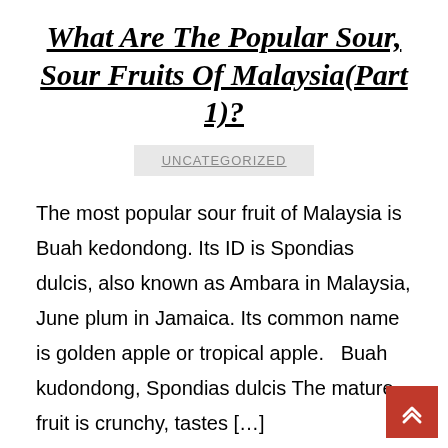What Are The Popular Sour, Sour Fruits Of Malaysia(Part 1)?
UNCATEGORIZED
The most popular sour fruit of Malaysia is Buah kedondong. Its ID is Spondias dulcis, also known as Ambara in Malaysia, June plum in Jamaica. Its common name is golden apple or tropical apple.   Buah kudondong, Spondias dulcis The mature fruit is crunchy, tastes […]
CONTINUE READING